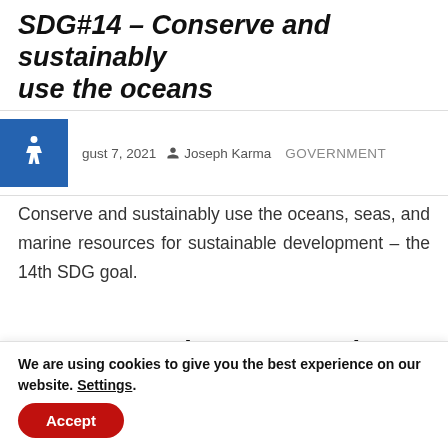SDG#14 – Conserve and sustainably use the oceans
August 7, 2021  Joseph Karma  GOVERNMENT
Conserve and sustainably use the oceans, seas, and marine resources for sustainable development – the 14th SDG goal.
SDG#13 – Take urgent action to combat climate change and its
We are using cookies to give you the best experience on our website. Settings.